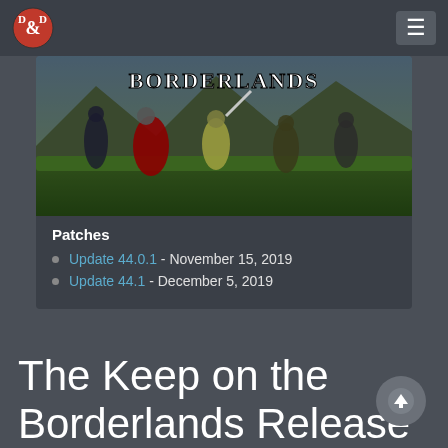D&D Beyond navigation header
[Figure (screenshot): Game screenshot showing fantasy battle scene with characters fighting in a grassy landscape with mountains in background, overlaid with the title 'BORDERLANDS' in white text]
Patches
Update 44.0.1 - November 15, 2019
Update 44.1 - December 5, 2019
The Keep on the Borderlands Release Information
Official Release Notes